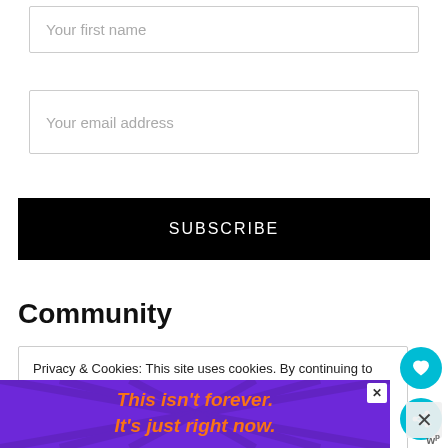Your first name
Your email address
SUBSCRIBE
Community
Privacy & Cookies: This site uses cookies. By continuing to use this website, you agree to their use. To find out more, including how to control cookies, see here: Cookie Policy
[Figure (infographic): Purple advertisement banner with orange italic text reading 'This isn't forever. It's just right now.' with decorative starburst/ray lines in background. Has a close (X) button.]